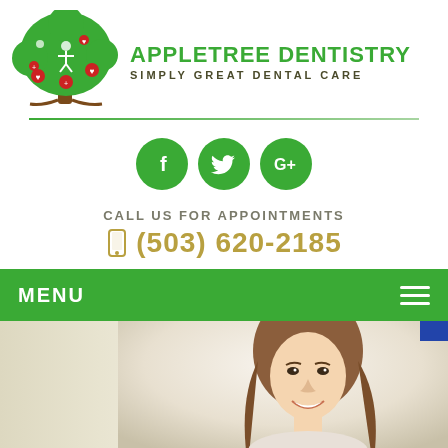[Figure (logo): Appletree Dentistry logo with a stylized tree featuring hearts and medical symbols, brown trunk, green leaves, red apples. Brand name 'APPLETREE DENTISTRY' in green bold text, tagline 'SIMPLY GREAT DENTAL CARE' in dark olive letter-spaced text.]
[Figure (infographic): Three green circular social media icons: Facebook (f), Twitter (bird), Google+ (G+)]
CALL US FOR APPOINTMENTS
(503) 620-2185
MENU
[Figure (photo): A smiling young woman with long brown hair, professional dental/beauty photo on a light background.]